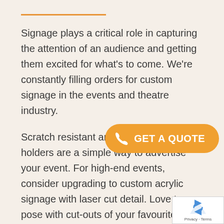Signage plays a critical role in capturing the attention of an audience and getting them excited for what’s to come. We’re constantly filling orders for custom signage in the events and theatre industry.
Scratch resistant and transparent poster holders are a simple way to advertise your event. For high-end events, consider upgrading to custom acrylic signage with laser cut detail. Love to pose with cut-outs of your favourite movie characters at the cinema? Chances are they’ve been created